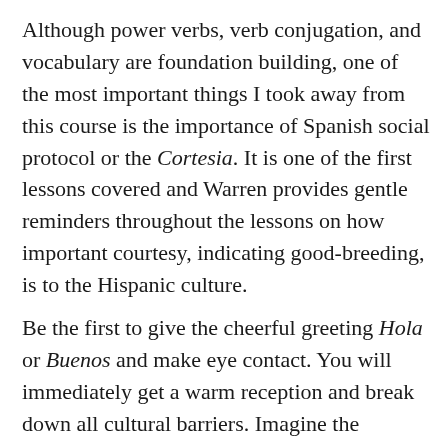Although power verbs, verb conjugation, and vocabulary are foundation building, one of the most important things I took away from this course is the importance of Spanish social protocol or the Cortesia. It is one of the first lessons covered and Warren provides gentle reminders throughout the lessons on how important courtesy, indicating good-breeding, is to the Hispanic culture.
Be the first to give the cheerful greeting Hola or Buenos and make eye contact. You will immediately get a warm reception and break down all cultural barriers. Imagine the surprised and appreciative looks I receive in